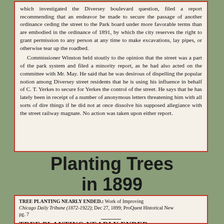which investigated the Diversey boulevard question, filed a report recommending that an endeavor be made to secure the passage of another ordinance ceding the street to the Park board under more favorable terms than are embodied in the ordinance of 1891, by which the city reserves the right to grant permission to any person at any time to make excavations, lay pipes, or otherwise tear up the roadbed. Commissioner Winston held stoutly to the opinion that the street was a part of the park system and filed a minority report, as he had also acted on the committee with Mr. May. He said that he was desirous of dispelling the popular notion among Diversey street residents that he is using his influence in behalf of C. T. Yerkes to secure for Yerkes the control of the street. He says that he has lately been in receipt of a number of anonymous letters threatening him with all sorts of dire things if he did not at once dissolve his supposed allegiance with the street railway magnate. No action was taken upon either report.
Planting Trees in 1899
TREE PLANTING NEARLY ENDED.: Work of Improving Chicago Daily Tribune (1872-1922); Dec 27, 1899; ProQuest Historical Newspapers pg. 7
TREE PLANTING NEARLY ENDED.
Work of Improving Fullerton Avenue